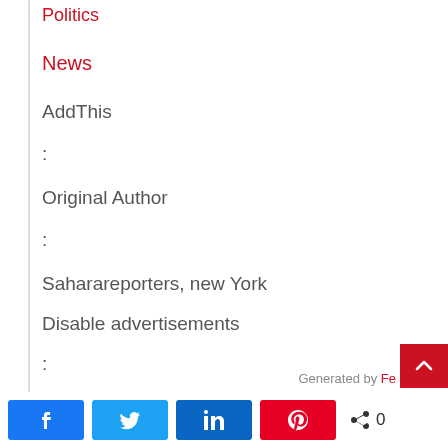Politics
News
AddThis
:
Original Author
:
Saharareporters, new York
Disable advertisements
:
Generated by Fe...